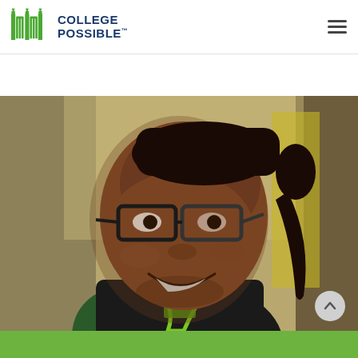[Figure (logo): College Possible logo with green gate icons and dark blue text reading COLLEGE POSSIBLE]
[Figure (photo): A smiling young Black woman wearing glasses, a black vest over a green shirt, and a green lanyard, photographed from the shoulders up in a blurred indoor setting]